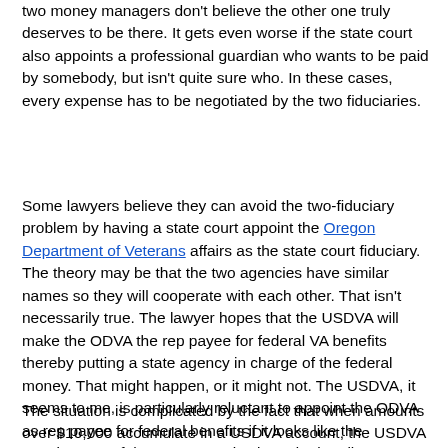two money managers don't believe the other one truly deserves to be there. It gets even worse if the state court also appoints a professional guardian who wants to be paid by somebody, but isn't quite sure who. In these cases, every expense has to be negotiated by the two fiduciaries.
Some lawyers believe they can avoid the two-fiduciary problem by having a state court appoint the Oregon Department of Veterans affairs as the state court fiduciary. The theory may be that the two agencies have similar names so they will cooperate with each other. That isn't necessarily true. The lawyer hopes that the USDVA will make the ODVA the rep payee for federal VA benefits thereby putting a state agency in charge of the federal money. That might happen, or it might not. The USDVA, it seems to me, is particularly reluctant to appoint the ODVA as rep payee for federal benefits if it looks like the appointment of the ODVA was instigated primarily as a strategy to get state control of USDVA payments. In such cases, the USDVA often leaves its own fiduciary in place to manage the federal money. The protected person ends up paying both the ODVA and the USDVA fiduciary.
The situation is complicated by the fact that when amounts over $10,000 accumulate in a USDVA account, the USDVA may (or may not)  ask the local USDVA fiduciary to apply for conservatorship under state law. If the